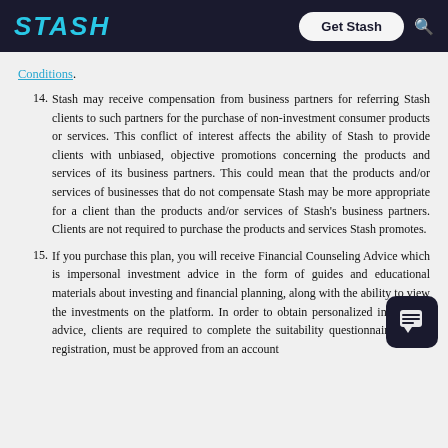STASH | Get Stash
Conditions.
14. Stash may receive compensation from business partners for referring Stash clients to such partners for the purchase of non-investment consumer products or services. This conflict of interest affects the ability of Stash to provide clients with unbiased, objective promotions concerning the products and services of its business partners. This could mean that the products and/or services of businesses that do not compensate Stash may be more appropriate for a client than the products and/or services of Stash's business partners. Clients are not required to purchase the products and services Stash promotes.
15. If you purchase this plan, you will receive Financial Counseling Advice which is impersonal investment advice in the form of guides and educational materials about investing and financial planning, along with the ability to view the investments on the platform. In order to obtain personalized investment advice, clients are required to complete the suitability questionnaire during registration, must be approved from an account